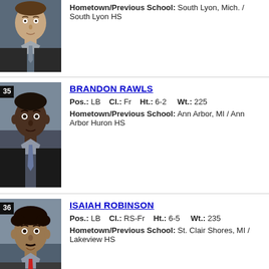[Figure (photo): Headshot photo of a player wearing a dark suit, partial view at top of page]
Hometown/Previous School: South Lyon, Mich. / South Lyon HS
35 BRANDON RAWLS — Pos.: LB  Cl.: Fr  Ht.: 6-2  Wt.: 225  Hometown/Previous School: Ann Arbor, MI / Ann Arbor Huron HS
[Figure (photo): Headshot photo of Brandon Rawls #35 wearing a dark suit with tie]
36 ISAIAH ROBINSON — Pos.: LB  Cl.: RS-Fr  Ht.: 6-5  Wt.: 235  Hometown/Previous School: St. Clair Shores, MI / Lakeview HS
[Figure (photo): Headshot photo of Isaiah Robinson #36 wearing a dark jacket with red tie]